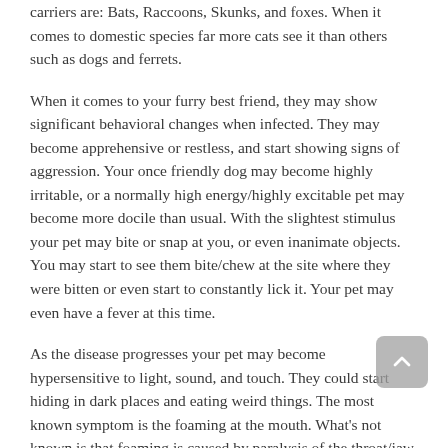carriers are: Bats, Raccoons, Skunks, and foxes. When it comes to domestic species far more cats see it than others such as dogs and ferrets.
When it comes to your furry best friend, they may show significant behavioral changes when infected. They may become apprehensive or restless, and start showing signs of aggression. Your once friendly dog may become highly irritable, or a normally high energy/highly excitable pet may become more docile than usual. With the slightest stimulus your pet may bite or snap at you, or even inanimate objects. You may start to see them bite/chew at the site where they were bitten or even start to constantly lick it. Your pet may even have a fever at this time.
As the disease progresses your pet may become hypersensitive to light, sound, and touch. They could start hiding in dark places and eating weird things. The most known symptom is the foaming at the mouth. What's not known is that foaming is caused by paralysis of the throat/jaw muscles. Paralysis of the hind legs may